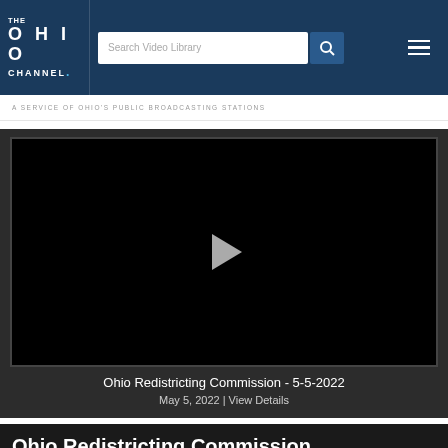THE OHIO CHANNEL
A SERVICE OF OHIO'S PUBLIC BROADCASTING STATIONS
[Figure (screenshot): Video player with black background and a play button in the center, showing a paused video.]
Ohio Redistricting Commission - 5-5-2022
May 5, 2022 | View Details
Ohio Redistricting Commission